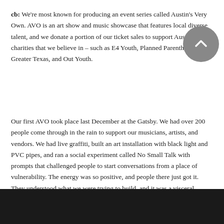cb: We're most known for producing an event series called Austin's Very Own. AVO is an art show and music showcase that features local diverse talent, and we donate a portion of our ticket sales to support Austin charities that we believe in – such as E4 Youth, Planned Parenthood of Greater Texas, and Out Youth.
Our first AVO took place last December at the Gatsby. We had over 200 people come through in the rain to support our musicians, artists, and vendors. We had live graffiti, built an art installation with black light and PVC pipes, and ran a social experiment called No Small Talk with prompts that challenged people to start conversations from a place of vulnerability. The energy was so positive, and people there just got it. They understood what we were trying to build, and it was a visceral example of how deeply needed a community like this is in Austin.
[Figure (photo): Dark/black image at the bottom of the page, appears to be a photo with very dark tones]